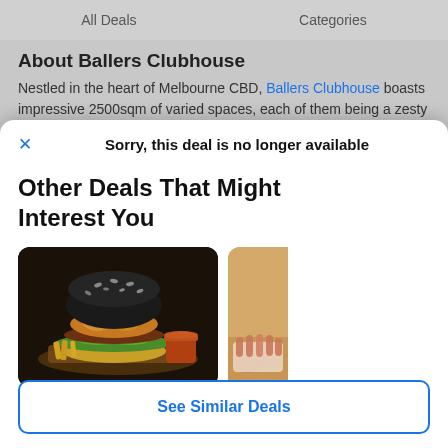All Deals   Categories
About Ballers Clubhouse
Nestled in the heart of Melbourne CBD, Ballers Clubhouse boasts impressive 2500sqm of varied spaces, each of them being a zesty
Sorry, this deal is no longer available
Other Deals That Might Interest You
[Figure (photo): Photo of a gourmet black-bun burger with fried chicken, lettuce, and a dipping sauce on a dark wooden board]
[Figure (photo): Partial view of a second deal card with a warm orange/tan background and hands visible]
See Similar Deals